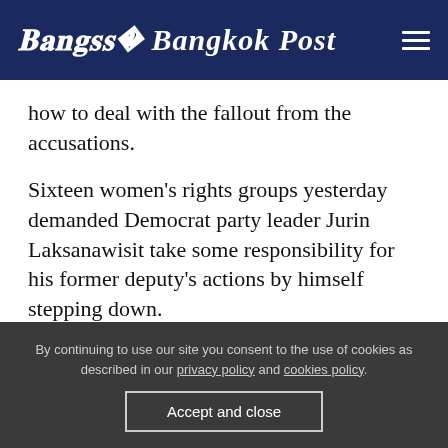Bangkok Post
how to deal with the fallout from the accusations.
Sixteen women's rights groups yesterday demanded Democrat party leader Jurin Laksanawisit take some responsibility for his former deputy's actions by himself stepping down.
While Mr Jurin has assured the party won't interfere in the case or tolerate sexual harassment, he also
By continuing to use our site you consent to the use of cookies as described in our privacy policy and cookies policy.
Accept and close